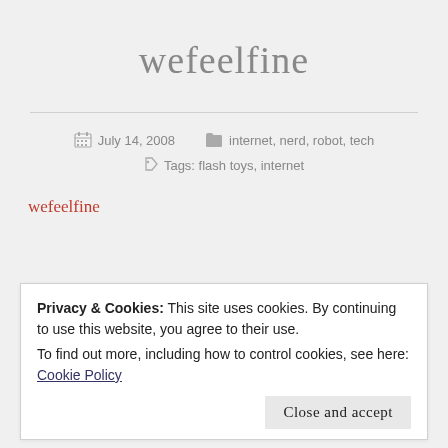wefeelfine
July 14, 2008   internet, nerd, robot, tech
Tags: flash toys, internet
wefeelfine
Privacy & Cookies: This site uses cookies. By continuing to use this website, you agree to their use.
To find out more, including how to control cookies, see here: Cookie Policy
Close and accept